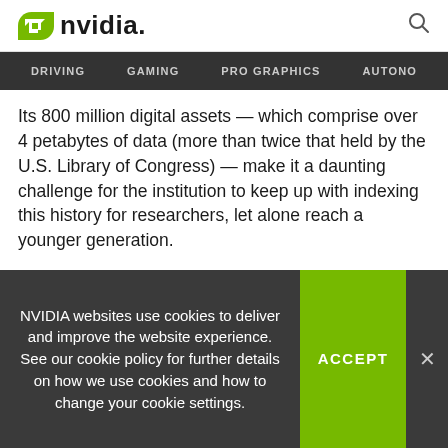NVIDIA. [logo] [search icon]
DRIVING   GAMING   PRO GRAPHICS   AUTONO
Its 800 million digital assets — which comprise over 4 petabytes of data (more than twice that held by the U.S. Library of Congress) — make it a daunting challenge for the institution to keep up with indexing this history for researchers, let alone reach a younger generation.
Using deep neural networks, Yad Vashem's team can let image-recognition algorithms help index and categorize its digital history. This could lead to finding new
NVIDIA websites use cookies to deliver and improve the website experience. See our cookie policy for further details on how we use cookies and how to change your cookie settings.
ACCEPT
×